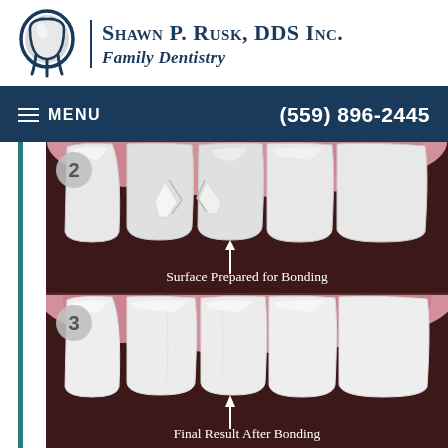[Figure (logo): Tooth logo icon for Shawn P. Rusk DDS Inc.]
Shawn P. Rusk, DDS Inc. Family Dentistry
≡ MENU   (559) 896-2445
[Figure (illustration): Step 2 dental bonding illustration showing surface prepared for bonding with chipped front tooth, dark background, label: Surface Prepared for Bonding]
[Figure (illustration): Step 3 dental bonding illustration showing final result after bonding with restored front teeth, dark background, label: Final Result After Bonding]